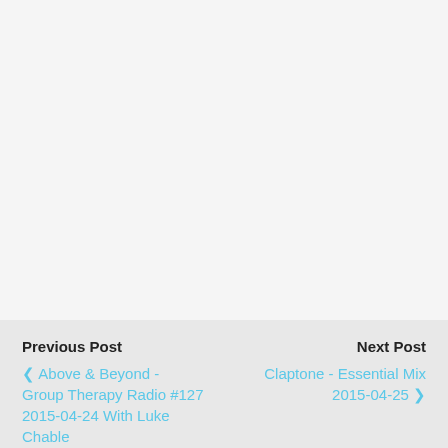Previous Post | Above & Beyond - Group Therapy Radio #127 2015-04-24 With Luke Chable | Next Post | Claptone - Essential Mix 2015-04-25